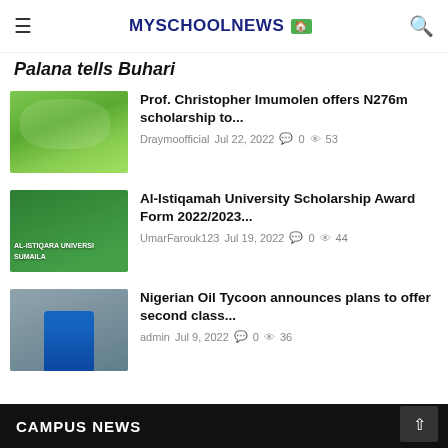MYSCHOOLNEWS
Palana tells Buhari
[Figure (photo): Photo of a football field with players and green grass]
Prof. Christopher Imumolen offers N276m scholarship to...
Draymoofficial  Jul 22, 2022   0   53
[Figure (photo): Photo of Al-Istiqara University Sumaila signboard]
Al-Istiqamah University Scholarship Award Form 2022/2023...
UmarFarouk123  Jul 19, 2022   0   44
[Figure (photo): Photo of a man in a blue suit with red tie]
Nigerian Oil Tycoon announces plans to offer second class...
admin  Jul 9, 2022   0   36
CAMPUS NEWS